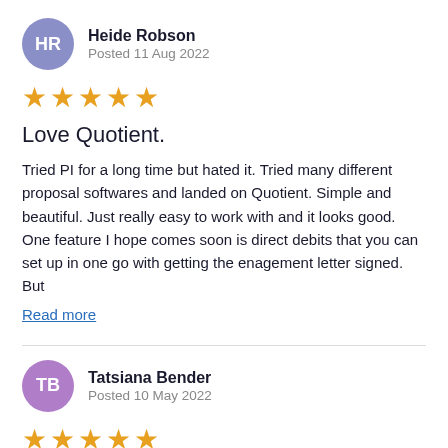HR — Heide Robson, Posted 11 Aug 2022
★★★★★
Love Quotient.
Tried PI for a long time but hated it. Tried many different proposal softwares and landed on Quotient. Simple and beautiful. Just really easy to work with and it looks good. One feature I hope comes soon is direct debits that you can set up in one go with getting the enagement letter signed. But
Read more
TB — Tatsiana Bender, Posted 10 May 2022
★★★★★